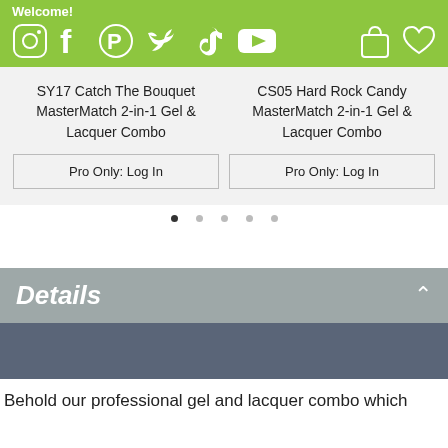Welcome!
SY17 Catch The Bouquet MasterMatch 2-in-1 Gel & Lacquer Combo
Pro Only: Log In
CS05 Hard Rock Candy MasterMatch 2-in-1 Gel & Lacquer Combo
Pro Only: Log In
Details
Behold our professional gel and lacquer combo which